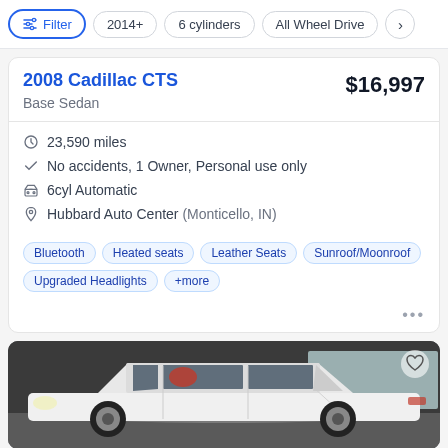Filter | 2014+ | 6 cylinders | All Wheel Drive
2008 Cadillac CTS
Base Sedan
$16,997
23,590 miles
No accidents, 1 Owner, Personal use only
6cyl Automatic
Hubbard Auto Center (Monticello, IN)
Bluetooth  Heated seats  Leather Seats  Sunroof/Moonroof  Upgraded Headlights  +more
[Figure (photo): White Cadillac CTS sedan photographed from the side in a garage setting]